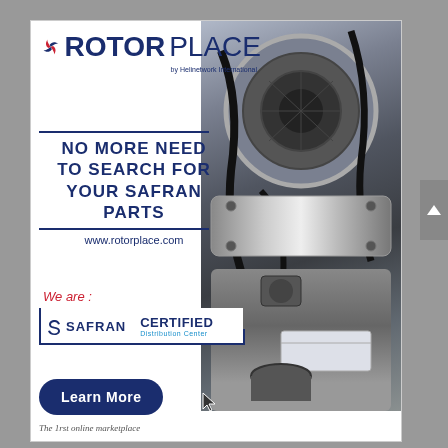[Figure (logo): RotorPlace logo with stylized rotor icon and text 'ROTORPLACE by Helinetwork International']
[Figure (photo): Close-up photograph of a helicopter engine/mechanical components with chrome and black parts]
NO MORE NEED TO SEARCH FOR YOUR SAFRAN PARTS
www.rotorplace.com
We are :
[Figure (logo): Safran Certified Distribution Center badge with bracket outline]
Learn More
The 1rst online marketplace